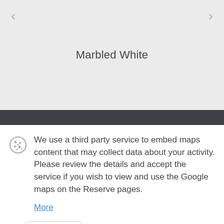Marbled White
We use a third party service to embed maps content that may collect data about your activity. Please review the details and accept the service if you wish to view and use the Google maps on the Reserve pages.
More
Accept